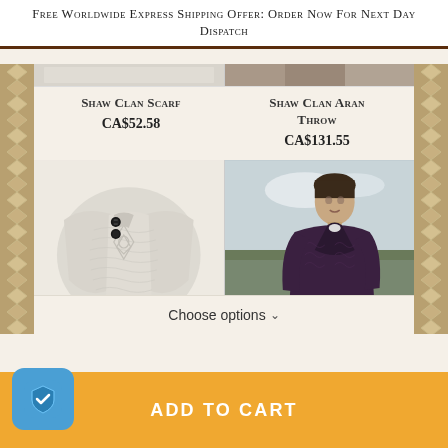Free Worldwide Express Shipping Offer: Order Now For Next Day Dispatch
[Figure (photo): Shaw Clan Scarf product thumbnail (top)]
[Figure (photo): Shaw Clan Aran Throw product thumbnail (top)]
Shaw Clan Scarf
CA$52.58
Shaw Clan Aran Throw
CA$131.55
[Figure (photo): Shaw Clan Scarf product image: cream/beige knit poncho with two black buttons]
[Figure (photo): Shaw Clan Aran Throw product image: man wearing dark purple cable-knit cardigan sweater outdoors]
Choose options ∨
ADD TO CART